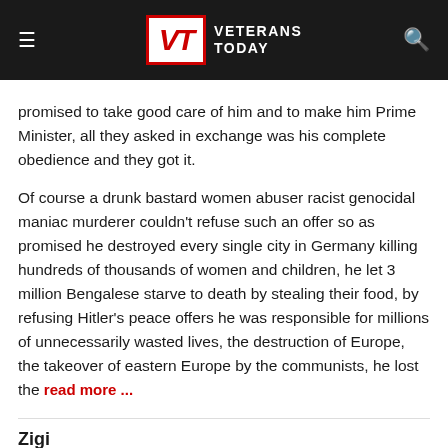Veterans Today
promised to take good care of him and to make him Prime Minister, all they asked in exchange was his complete obedience and they got it.
Of course a drunk bastard women abuser racist genocidal maniac murderer couldn't refuse such an offer so as promised he destroyed every single city in Germany killing hundreds of thousands of women and children, he let 3 million Bengalese starve to death by stealing their food, by refusing Hitler's peace offers he was responsible for millions of unnecessarily wasted lives, the destruction of Europe, the takeover of eastern Europe by the communists, he lost the read more ...
Zigi
April 10, 2021 at 8:31 pm
https://www.youtube.com/watch?